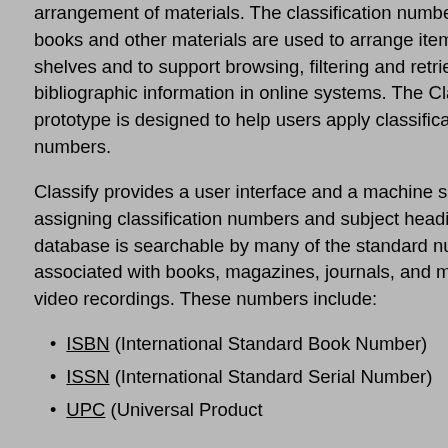arrangement of materials. The classification numbers applied to books and other materials are used to arrange items on shelves and to support browsing, filtering and retrieval of bibliographic information in online systems. The Classify prototype is designed to help users apply classification numbers.
Classify provides a user interface and a machine service for assigning classification numbers and subject headings. The database is searchable by many of the standard numbers associated with books, magazines, journals, and music and video recordings. These numbers include:
ISBN (International Standard Book Number)
ISSN (International Standard Serial Number)
UPC (Universal Product